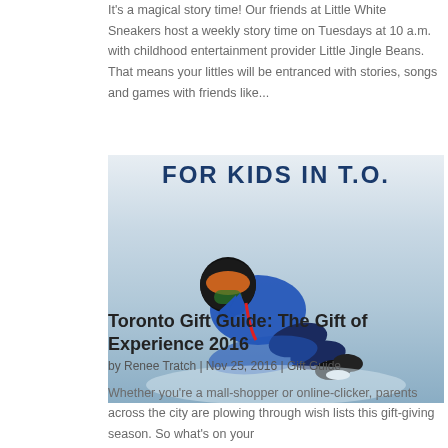It's a magical story time! Our friends at Little White Sneakers host a weekly story time on Tuesdays at 10 a.m. with childhood entertainment provider Little Jingle Beans. That means your littles will be entranced with stories, songs and games with friends like...
[Figure (photo): A child in a blue winter jacket and helmet sledding down a snowy hill, viewed from above. Text overlay reads 'FOR KIDS IN T.O.']
Toronto Gift Guide: The Gift of Experience 2016
by Renee Tratch | Nov 25, 2016 | Gift Guide
Whether you're a mall-shopper or online-clicker, parents across the city are plowing through wish lists this gift-giving season. So what's on your